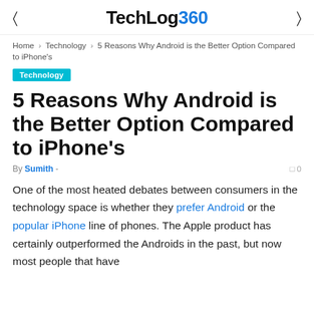TechLog360
Home › Technology › 5 Reasons Why Android is the Better Option Compared to iPhone's
Technology
5 Reasons Why Android is the Better Option Compared to iPhone's
By Sumith -  0
One of the most heated debates between consumers in the technology space is whether they prefer Android or the popular iPhone line of phones. The Apple product has certainly outperformed the Androids in the past, but now most people that have